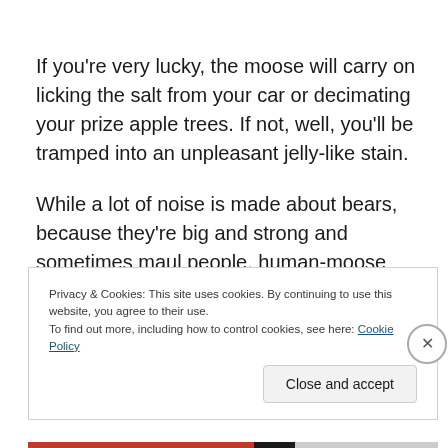If you're very lucky, the moose will carry on licking the salt from your car or decimating your prize apple trees. If not, well, you'll be tramped into an unpleasant jelly-like stain.
While a lot of noise is made about bears, because they're big and strong and sometimes maul people, human-moose interactions are way more common and plenty dangerous. Plus a moose will absolutely maul the shit out
Privacy & Cookies: This site uses cookies. By continuing to use this website, you agree to their use.
To find out more, including how to control cookies, see here: Cookie Policy